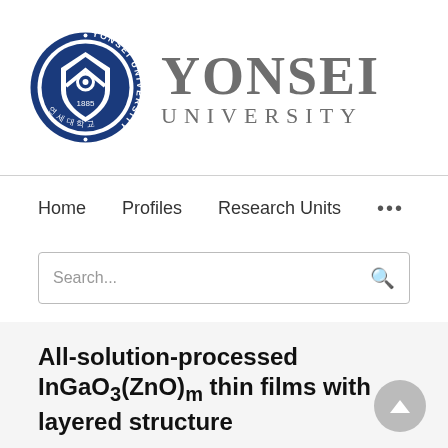[Figure (logo): Yonsei University seal and wordmark logo]
Home   Profiles   Research Units   ...
Search...
All-solution-processed InGaO3(ZnO)m thin films with layered structure
Sung Woon Cho, Jun Hyeon Kim, Sangwoo Shin, Hyung Hee Cho, Hyung Keun Cho...